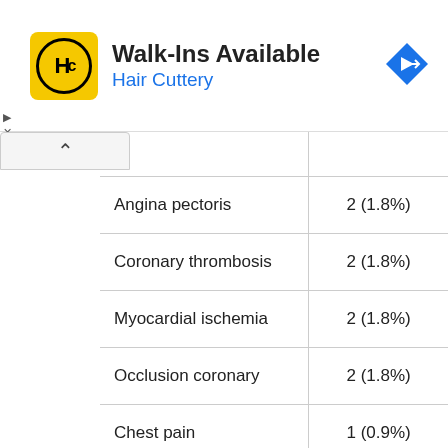[Figure (other): Hair Cuttery advertisement banner with logo and Walk-Ins Available text]
|  |  |
| --- | --- |
| Angina pectoris | 2 (1.8%) |
| Coronary thrombosis | 2 (1.8%) |
| Myocardial ischemia | 2 (1.8%) |
| Occlusion coronary | 2 (1.8%) |
| Chest pain | 1 (0.9%) |
| Fever | 1 (0.9%) |